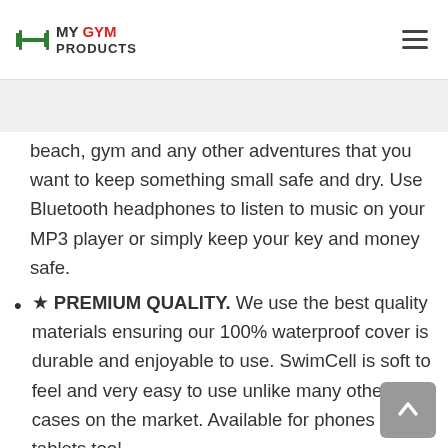MY GYM PRODUCTS (logo with hamburger menu)
beach, gym and any other adventures that you want to keep something small safe and dry. Use Bluetooth headphones to listen to music on your MP3 player or simply keep your key and money safe.
★ PREMIUM QUALITY. We use the best quality materials ensuring our 100% waterproof cover is durable and enjoyable to use. SwimCell is soft to feel and very easy to use unlike many other cases on the market. Available for phones and tablets too!